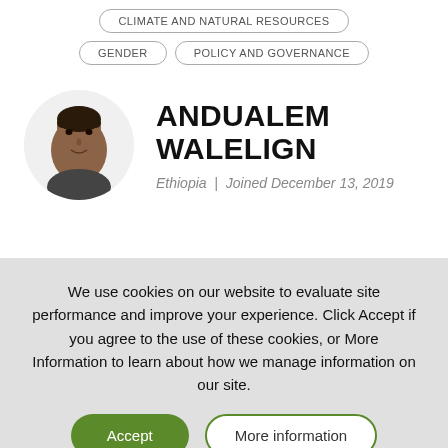CLIMATE AND NATURAL RESOURCES
GENDER
POLICY AND GOVERNANCE
ANDUALEM WALELIGN
Ethiopia | Joined December 13, 2019
We use cookies on our website to evaluate site performance and improve your experience. Click Accept if you agree to the use of these cookies, or More Information to learn about how we manage information on our site.